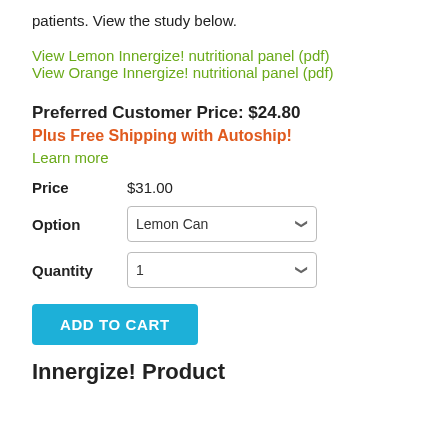patients. View the study below.
View Lemon Innergize! nutritional panel (pdf)
View Orange Innergize! nutritional panel (pdf)
Preferred Customer Price: $24.80
Plus Free Shipping with Autoship!
Learn more
| Label | Value |
| --- | --- |
| Price | $31.00 |
| Option | Lemon Can |
| Quantity | 1 |
ADD TO CART
Innergize! Product